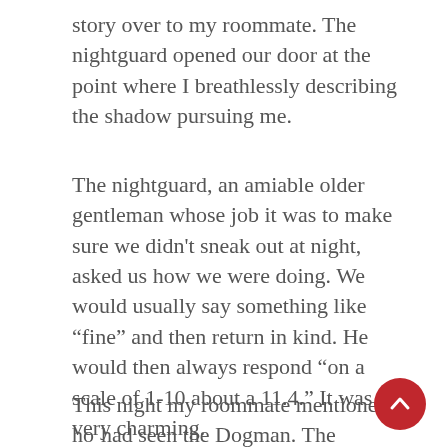story over to my roommate. The nightguard opened our door at the point where I breathlessly describing the shadow pursuing me.
The nightguard, an amiable older gentleman whose job it was to make sure we didn't sneak out at night, asked us how we were doing. We would usually say something like “fine” and then return in kind. He would then always respond “on a scale of 1-10 about a 11.4.” It was very charming.
This night my roommate mentioned how had seen the Dogman. The nightguard, we